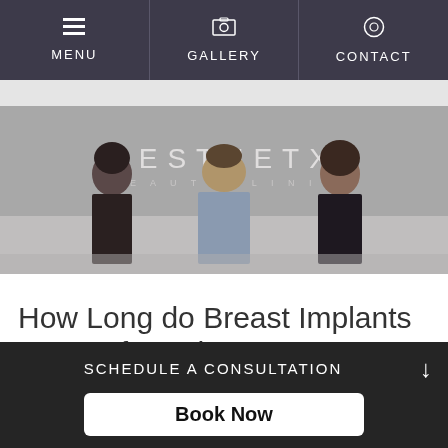MENU  GALLERY  CONTACT
[Figure (photo): Three people standing in front of an AESTHETX clinic backdrop — a woman in a black dress on the left, a man in a plaid suit in the center, and a woman in a black dress on the right.]
How Long do Breast Implants Last Before They Must Be Redone?
SCHEDULE A CONSULTATION
Book Now